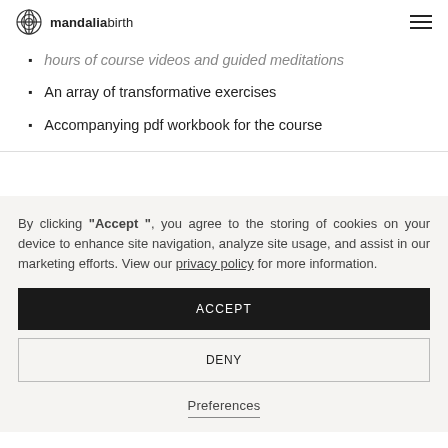mandaliabirth
hours of course videos and guided meditations
An array of transformative exercises
Accompanying pdf workbook for the course
By clicking "Accept ", you agree to the storing of cookies on your device to enhance site navigation, analyze site usage, and assist in our marketing efforts. View our privacy policy for more information.
ACCEPT
DENY
Preferences